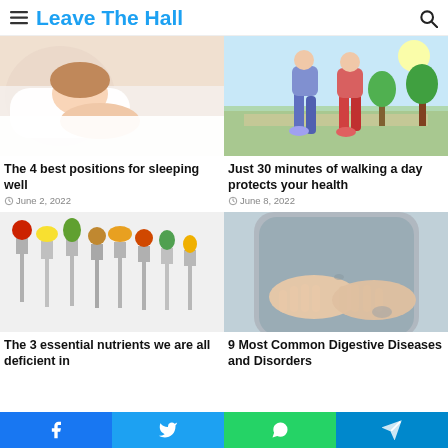Leave The Hall
[Figure (photo): Person sleeping on white pillow, close-up]
The 4 best positions for sleeping well
June 2, 2022
[Figure (photo): Two people walking outdoors on a sunny day]
Just 30 minutes of walking a day protects your health
June 8, 2022
[Figure (photo): Various vegetables and fruits on forks arranged on white background]
The 3 essential nutrients we are all deficient in
[Figure (photo): Person holding stomach with both hands, wearing gray shirt]
9 Most Common Digestive Diseases and Disorders
Facebook  Twitter  WhatsApp  Telegram